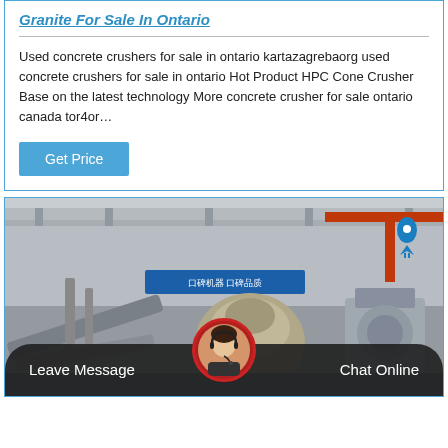Granite For Sale In Ontario
Used concrete crushers for sale in ontario kartazagrebaorg used concrete crushers for sale in ontario Hot Product HPC Cone Crusher Base on the latest technology More concrete crusher for sale ontario canada tor4or…
Get Price
[Figure (photo): Industrial factory or manufacturing plant interior showing large mining/crushing machinery, conveyor belts, and overhead crane equipment in a large warehouse facility. Blue location pin icon visible in upper right.]
Leave Message
Chat Online